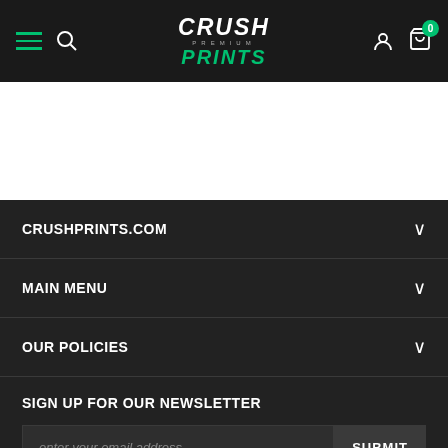Crush Premium Prints — navigation header with hamburger menu, search, logo, user account, and cart (0 items)
[Figure (logo): Crush Premium Prints logo in white and green italic text on dark background]
CRUSHPRINTS.COM
MAIN MENU
OUR POLICIES
SIGN UP FOR OUR NEWSLETTER
enter your email address
SUBMIT